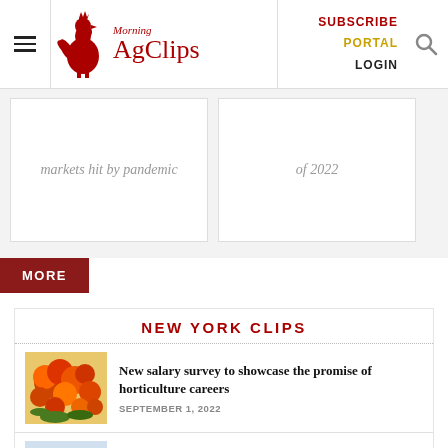Morning AgClips — SUBSCRIBE PORTAL LOGIN
markets hit by pandemic
of 2022
MORE
NEW YORK CLIPS
New salary survey to showcase the promise of horticulture careers
SEPTEMBER 1, 2022
Grand Union, ADA North East kick off 'Fill a Glass with Hope' campaign
SEPTEMBER 1, 2022
CCE Saratoga presents Homesteader and